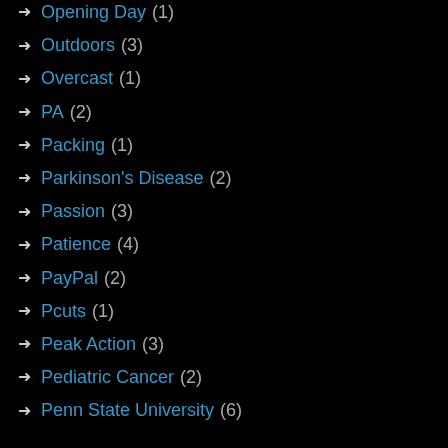Opening Day (1)
Outdoors (3)
Overcast (1)
PA (2)
Packing (1)
Parkinson's Disease (2)
Passion (3)
Patience (4)
PayPal (2)
Pcuts (1)
Peak Action (3)
Pediatric Cancer (2)
Penn State University (6)